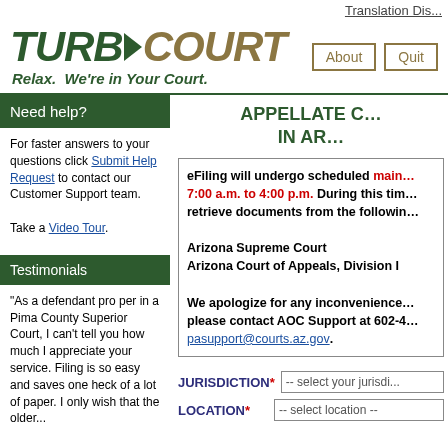Translation Dis...
[Figure (logo): TurboCourt logo with arrow between TURBO and COURT, tagline: Relax. We're in Your Court.]
Need help?
For faster answers to your questions click Submit Help Request to contact our Customer Support team.

Take a Video Tour.
Testimonials
"As a defendant pro per in a Pima County Superior Court, I can't tell you how much I appreciate your service. Filing is so easy and saves one heck of a lot of paper. I only wish that the older...
APPELLATE CO... IN AR...
eFiling will undergo scheduled main... 7:00 a.m. to 4:00 p.m. During this tim... retrieve documents from the followin...

Arizona Supreme Court
Arizona Court of Appeals, Division I

We apologize for any inconvenience... please contact AOC Support at 602-4... pasupport@courts.az.gov.
JURISDICTION* -- select your jurisdi...
LOCATION* -- select location --